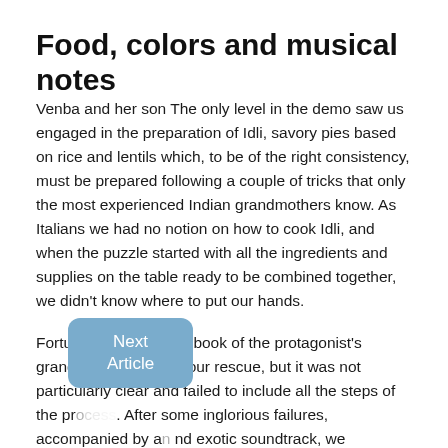Food, colors and musical notes
Venba and her son The only level in the demo saw us engaged in the preparation of Idli, savory pies based on rice and lentils which, to be of the right consistency, must be prepared following a couple of tricks that only the most experienced Indian grandmothers know. As Italians we had no notion on how to cook Idli, and when the puzzle started with all the ingredients and supplies on the table ready to be combined together, we didn't know where to put our hands.
Fortunately, the recipe book of the protagonist's grandmother came to our rescue, but it was not particularly clear and failed to include all the steps of the pr... After some inglorious failures, accompanied by a ... nd exotic soundtrack, we understood that the molds with which the Idli is prepared had to be arranged in a certain way to make the steam reach the ... floors of the container, like the bread has t...